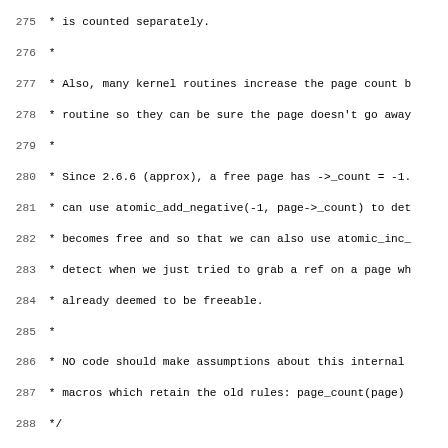[Figure (screenshot): Source code listing showing C kernel source code with line numbers 275-307, containing comments about page reference counting and macro definitions for put_page_testzero, get_page_testone, set_page_count, and put_page.]